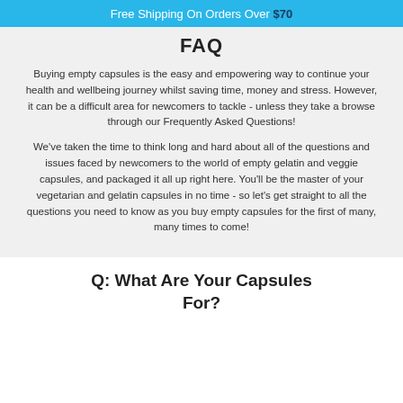Free Shipping On Orders Over $70
FAQ
Buying empty capsules is the easy and empowering way to continue your health and wellbeing journey whilst saving time, money and stress. However, it can be a difficult area for newcomers to tackle - unless they take a browse through our Frequently Asked Questions!
We've taken the time to think long and hard about all of the questions and issues faced by newcomers to the world of empty gelatin and veggie capsules, and packaged it all up right here. You'll be the master of your vegetarian and gelatin capsules in no time - so let's get straight to all the questions you need to know as you buy empty capsules for the first of many, many times to come!
Q: What Are Your Capsules For?